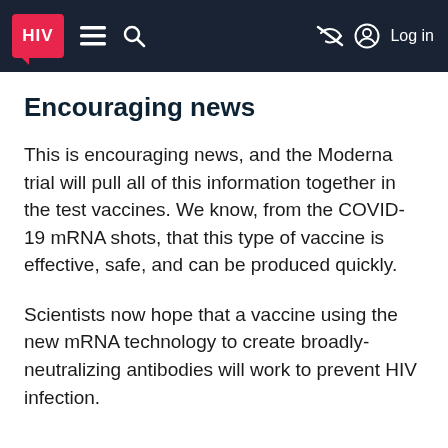HIV [logo] | [menu] [search] | [no-icon] [user] Log in
Encouraging news
This is encouraging news, and the Moderna trial will pull all of this information together in the test vaccines. We know, from the COVID-19 mRNA shots, that this type of vaccine is effective, safe, and can be produced quickly.
Scientists now hope that a vaccine using the new mRNA technology to create broadly-neutralizing antibodies will work to prevent HIV infection.